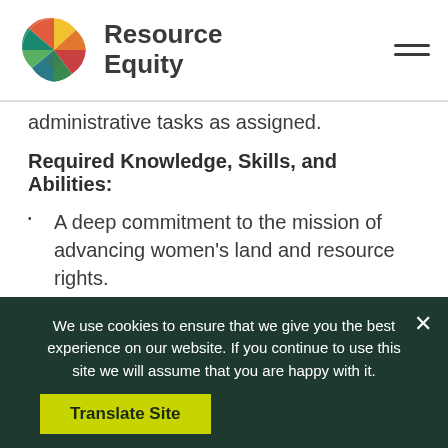Resource Equity
administrative tasks as assigned.
Required Knowledge, Skills, and Abilities:
A deep commitment to the mission of advancing women's land and resource rights.
Dedication to working in a mission-driven environment.
We use cookies to ensure that we give you the best experience on our website. If you continue to use this site we will assume that you are happy with it.
Translate Site